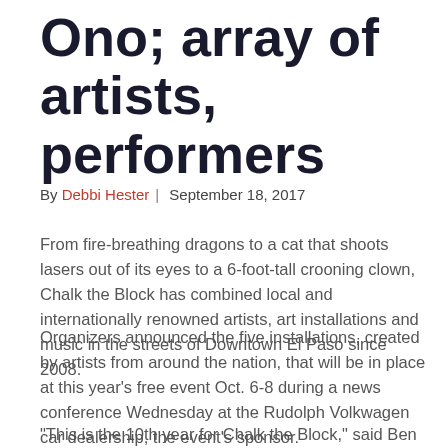Ono; array of artists, performers
By Debbi Hester | September 18, 2017
From fire-breathing dragons to a cat that shoots lasers out of its eyes to a 6-foot-tall crooning clown, Chalk the Block has combined local and internationally renowned artists, art installations and music in the streets of Downtown El Paso since 2008.
Organizers announced the five installations, created by artists from around the nation, that will be in place at this year’s free event Oct. 6-8 during a news conference Wednesday at the Rudolph Volkwagen car dealership, the event’s sponsor.
“This is the 10th year for Chalk the Block,” said Ben Fyffe,